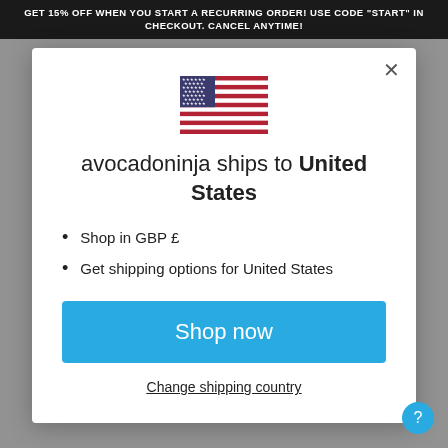GET 15% OFF WHEN YOU START A RECURRING ORDER! USE CODE "START" IN CHECKOUT. CANCEL ANYTIME!
[Figure (illustration): US flag icon]
avocadoninja ships to United States
Shop in GBP £
Get shipping options for United States
Shop now
Change shipping country